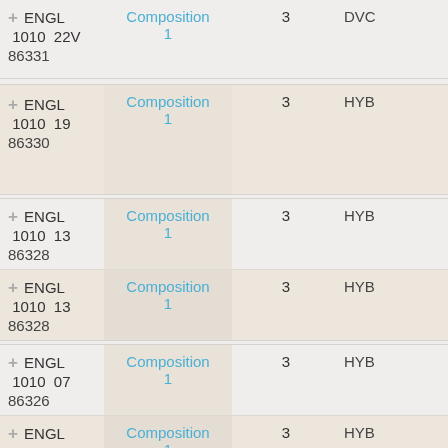| +/ID | Dept | Course | Sec | Composition | Num | Type |
| --- | --- | --- | --- | --- | --- | --- |
| + 86331 | ENGL | 1010 | 22V | Composition 1 | 3 | DVC |
| + 86330 | ENGL | 1010 | 19 | Composition 1 | 3 | HYB |
| + 86328 | ENGL | 1010 | 13 | Composition 1 | 3 | HYB |
| + 86328 | ENGL | 1010 | 13 | Composition 1 | 3 | HYB |
| + 86326 | ENGL | 1010 | 07 | Composition 1 | 3 | HYB |
| + 86326 | ENGL | 1010 | 07 | Composition 1 | 3 | HYB |